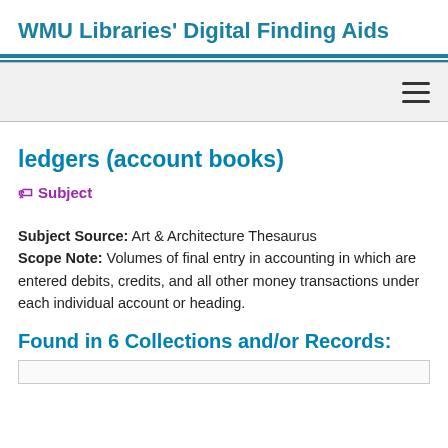WMU Libraries' Digital Finding Aids
ledgers (account books)
Subject
Subject Source: Art & Architecture Thesaurus
Scope Note: Volumes of final entry in accounting in which are entered debits, credits, and all other money transactions under each individual account or heading.
Found in 6 Collections and/or Records: